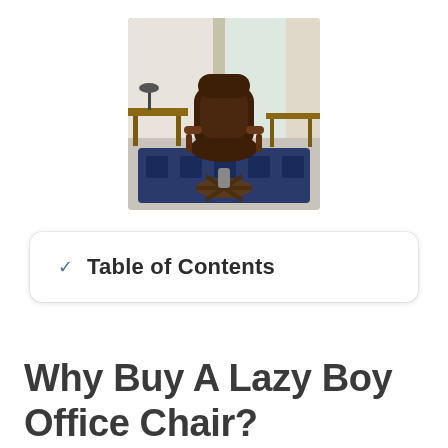[Figure (photo): A dark brown leather recliner office chair with armrests, positioned in a home office setting with a desk, lamp, and blue patterned rug on the floor.]
Table of Contents
Why Buy A Lazy Boy Office Chair?